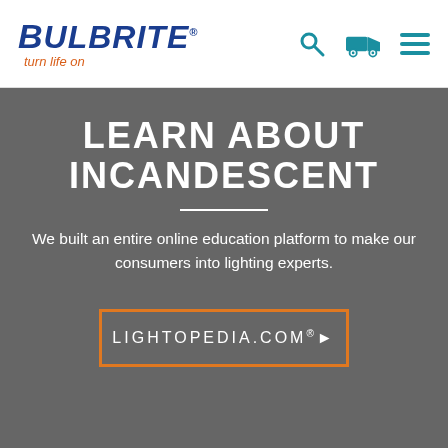[Figure (logo): Bulbrite logo with 'turn life on' tagline and navigation icons (search, truck, menu)]
LEARN ABOUT INCANDESCENT
We built an entire online education platform to make our consumers into lighting experts.
LIGHTOPEDIA.COM®▶